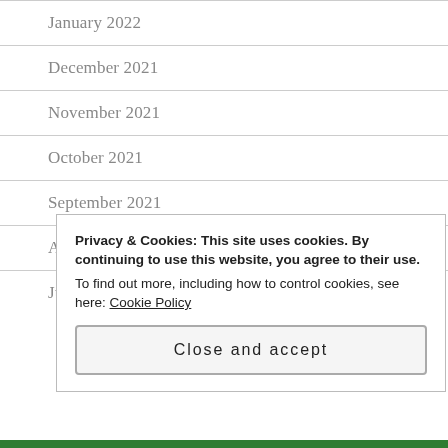January 2022
December 2021
November 2021
October 2021
September 2021
August 2021
July 2021
Privacy & Cookies: This site uses cookies. By continuing to use this website, you agree to their use.
To find out more, including how to control cookies, see here: Cookie Policy
Close and accept